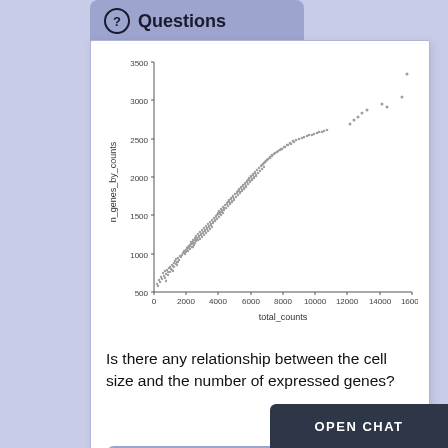Questions
[Figure (continuous-plot): Scatter plot of total_counts (x-axis, 0 to 16000) vs n_genes_by_counts (y-axis, 500 to 3500). Dense cluster of gray dots showing strong positive correlation between total counts and number of genes by counts. A few outlier points scattered in upper right area.]
Is there any relationship between the cell size and the number of expressed genes?
Solution